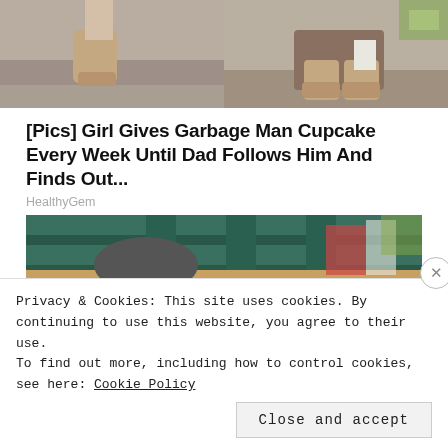[Figure (photo): Two partial photos side by side showing people's lower legs and boots on steps/pavement background]
[Pics] Girl Gives Garbage Man Cupcake Every Week Until Dad Follows Him And Finds Out...
HealthyGem
[Figure (photo): Two adults seated at what appears to be a sporting event (Wimbledon-style seating), both wearing sunglasses, man in dark suit on left, woman with brown hair on right, green stadium seats visible in background]
Privacy & Cookies: This site uses cookies. By continuing to use this website, you agree to their use.
To find out more, including how to control cookies, see here: Cookie Policy
Close and accept